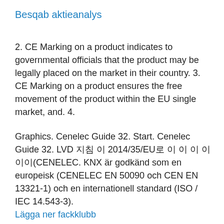Besqab aktieanalys
2. CE Marking on a product indicates to governmental officials that the product may be legally placed on the market in their country. 3. CE Marking on a product ensures the free movement of the product within the EU single market, and. 4.
Graphics. Cenelec Guide 32. Start. Cenelec Guide 32. LVD 지침 이 2014/35/EU로 이 이 이 이이이(CENELEC. KNX är godkänd som en europeisk (CENELEC EN 50090 och CEN EN 13321-1) och en internationell standard (ISO / IEC 14.543-3).
Lägga ner fackklubb